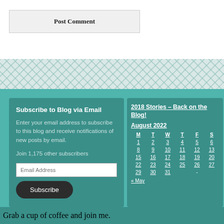Post Comment
Subscribe to Blog via Email
Enter your email address to subscribe to this blog and receive notifications of new posts by email.
Join 1,175 other subscribers
2018 Stories – Back on the Blog!
| M | T | W | T | F | S |
| --- | --- | --- | --- | --- | --- |
| 1 | 2 | 3 | 4 | 5 | 6 |
| 8 | 9 | 10 | 11 | 12 | 13 |
| 15 | 16 | 17 | 18 | 19 | 20 |
| 22 | 23 | 24 | 25 | 26 | 27 |
| 29 | 30 | 31 |  |  |  |
« May
Grab a cup of coffee and join me.